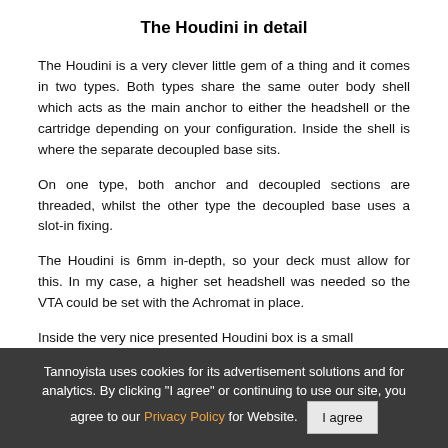The Houdini in detail
The Houdini is a very clever little gem of a thing and it comes in two types. Both types share the same outer body shell which acts as the main anchor to either the headshell or the cartridge depending on your configuration. Inside the shell is where the separate decoupled base sits.
On one type, both anchor and decoupled sections are threaded, whilst the other type the decoupled base uses a slot-in fixing.
The Houdini is 6mm in-depth, so your deck must allow for this. In my case, a higher set headshell was needed so the VTA could be set with the Achromat in place.
Inside the very nice presented Houdini box is a small
Tannoyista uses cookies for its advertisement solutions and for analytics. By clicking "I agree" or continuing to use our site, you agree to our Privacy Policy for Website.